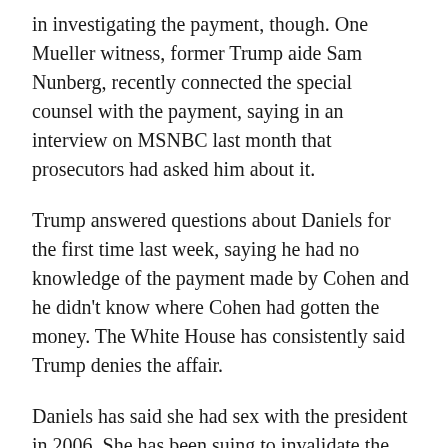in investigating the payment, though. One Mueller witness, former Trump aide Sam Nunberg, recently connected the special counsel with the payment, saying in an interview on MSNBC last month that prosecutors had asked him about it.
Trump answered questions about Daniels for the first time last week, saying he had no knowledge of the payment made by Cohen and he didn't know where Cohen had gotten the money. The White House has consistently said Trump denies the affair.
Daniels has said she had sex with the president in 2006. She has been suing to invalidate the nondisclosure agreement she signed before the election and has offered to return the $130,000 she was paid in order to "set the record straight."